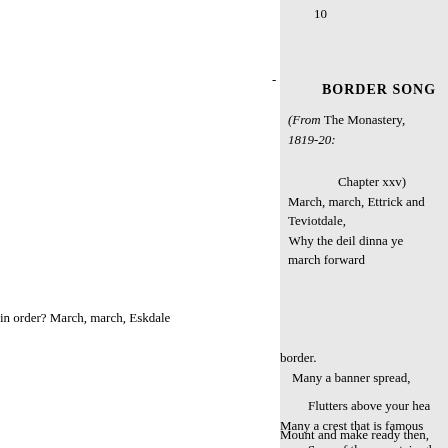10
BORDER SONG
(From The Monastery, 1819-20:
Chapter xxv)
March, march, Ettrick and Teviotdale,
 Why the deil dinna ye march forward
in order? March, march, Eskdale
border.
  Many a banner spread,

    Flutters above your hea
Many a crest that is famous
Mount and make ready then,
    Sons of the mountain gl
Fight for the Queen and our